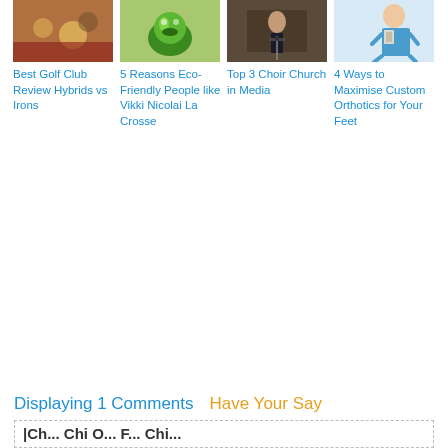[Figure (photo): Thumbnail image for Best Golf Club Review Hybrids vs Irons]
[Figure (photo): Thumbnail image for 5 Reasons Eco-Friendly People like Vikki Nicolai La Crosse - green frog/nature]
[Figure (photo): Thumbnail image for Top 3 Choir Church in Media - person at microphone]
[Figure (photo): Thumbnail image for 4 Ways to Maximise Custom Orthotics for Your Feet - person in blue shirt reading]
Best Golf Club Review Hybrids vs Irons
5 Reasons Eco-Friendly People like Vikki Nicolai La Crosse
Top 3 Choir Church in Media
4 Ways to Maximise Custom Orthotics for Your Feet
Displaying 1 Comments
Have Your Say
|Ch... Chi O... F... Chi...